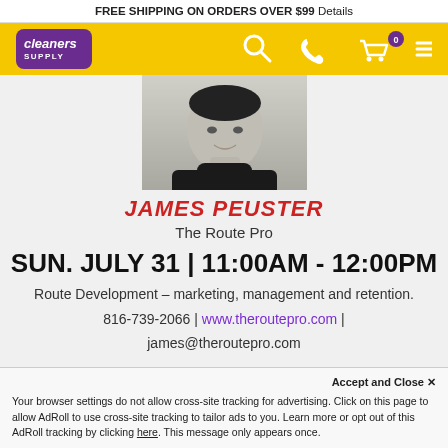FREE SHIPPING ON ORDERS OVER $99 Details
[Figure (logo): Cleaner's Supply logo in purple rounded rectangle with yellow navigation bar containing search, phone, cart (0), and menu icons]
[Figure (photo): Headshot of James Peuster wearing a dark turtleneck, smiling]
JAMES PEUSTER
The Route Pro
SUN. JULY 31 | 11:00AM - 12:00PM
Route Development – marketing, management and retention.
816-739-2066 | www.theroutepro.com | james@theroutepro.com
Accept and Close ✕
Your browser settings do not allow cross-site tracking for advertising. Click on this page to allow AdRoll to use cross-site tracking to tailor ads to you. Learn more or opt out of this AdRoll tracking by clicking here. This message only appears once.